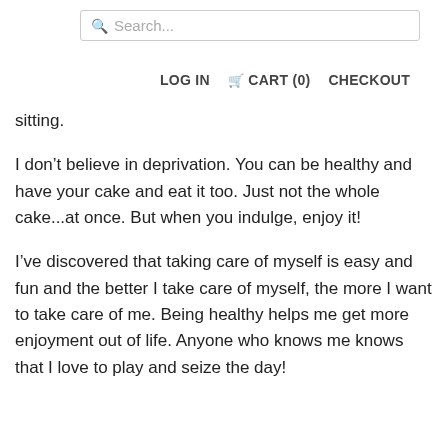Search... | LOG IN  CART (0)  CHECKOUT
sitting.
I don't believe in deprivation. You can be healthy and have your cake and eat it too. Just not the whole cake...at once. But when you indulge, enjoy it!
I've discovered that taking care of myself is easy and fun and the better I take care of myself, the more I want to take care of me. Being healthy helps me get more enjoyment out of life. Anyone who knows me knows that I love to play and seize the day!